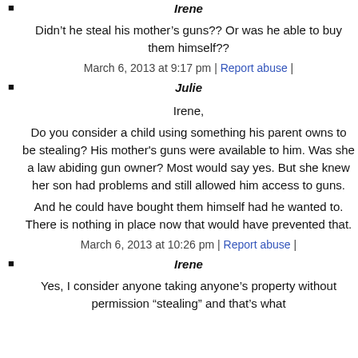Irene
Didn’t he steal his mother’s guns?? Or was he able to buy them himself??
March 6, 2013 at 9:17 pm | Report abuse |
Julie
Irene,
Do you consider a child using something his parent owns to be stealing? His mother's guns were available to him. Was she a law abiding gun owner? Most would say yes. But she knew her son had problems and still allowed him access to guns.
And he could have bought them himself had he wanted to. There is nothing in place now that would have prevented that.
March 6, 2013 at 10:26 pm | Report abuse |
Irene
Yes, I consider anyone taking anyone’s property without permission “stealing” and that’s what